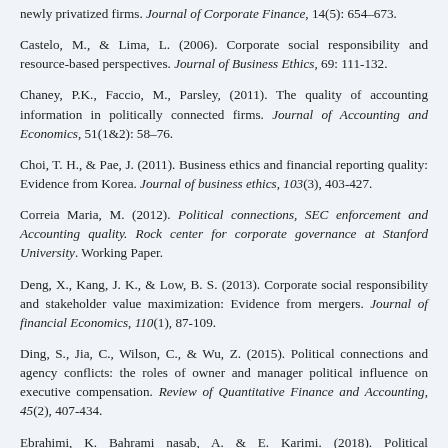newly privatized firms. Journal of Corporate Finance, 14(5): 654–673.
Castelo, M., & Lima, L. (2006). Corporate social responsibility and resource-based perspectives. Journal of Business Ethics, 69: 111-132.
Chaney, P.K., Faccio, M., Parsley, (2011). The quality of accounting information in politically connected firms. Journal of Accounting and Economics, 51(1&2): 58–76.
Choi, T. H., & Pae, J. (2011). Business ethics and financial reporting quality: Evidence from Korea. Journal of business ethics, 103(3), 403-427.
Correia Maria, M. (2012). Political connections, SEC enforcement and Accounting quality. Rock center for corporate governance at Stanford University. Working Paper.
Deng, X., Kang, J. K., & Low, B. S. (2013). Corporate social responsibility and stakeholder value maximization: Evidence from mergers. Journal of financial Economics, 110(1), 87-109.
Ding, S., Jia, C., Wilson, C., & Wu, Z. (2015). Political connections and agency conflicts: the roles of owner and manager political influence on executive compensation. Review of Quantitative Finance and Accounting, 45(2), 407-434.
Ebrahimi, K. Bahrami nasab, A. & E. Karimi. (2018). Political communication, audit quality, financial crisis, agency costs. Audit Science,